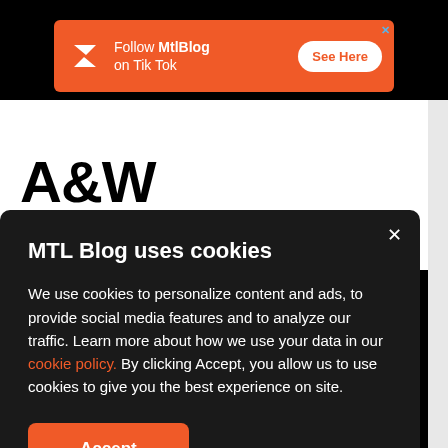[Figure (screenshot): Orange ad banner for MtlBlog TikTok promotion with logo, text 'Follow MtlBlog on Tik Tok' and 'See Here' button]
A&W
MTL Blog uses cookies
We use cookies to personalize content and ads, to provide social media features and to analyze our traffic. Learn more about how we use your data in our cookie policy. By clicking Accept, you allow us to use cookies to give you the best experience on site.
Accept